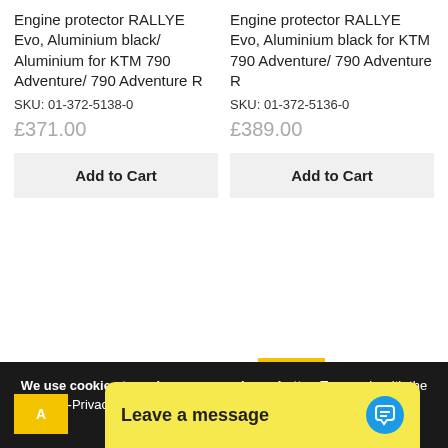Engine protector RALLYE Evo, Aluminium black/ Aluminium for KTM 790 Adventure/ 790 Adventure R
SKU: 01-372-5138-0
£371.00
Add to Cart
Engine protector RALLYE Evo, Aluminium black for KTM 790 Adventure/ 790 Adventure R
SKU: 01-372-5136-0
£389.00
Add to Cart
Sale
We use cookies to make your experience better. To comply with the new e-Privacy directive, we need to ask for your consent to set the cookies. Learn more.
Leave a message